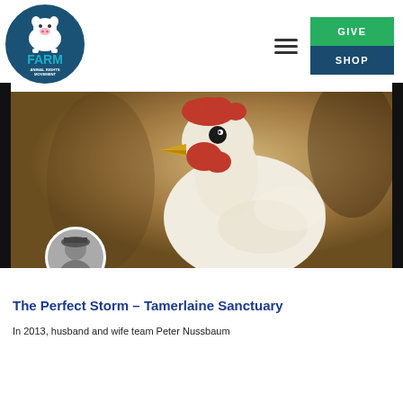[Figure (logo): FARM Animal Rights Movement logo — circular dark navy badge with a cartoon pig and bold teal text FARM and white text ANIMAL RIGHTS MOVEMENT]
[Figure (photo): Close-up photograph of a chicken/hen with red comb and yellow beak, looking directly at the camera, on a sandy/grain background]
[Figure (photo): Small circular author avatar photo showing a person in black and white]
The Perfect Storm – Tamerlaine Sanctuary
In 2013, husband and wife team Peter Nussbaum